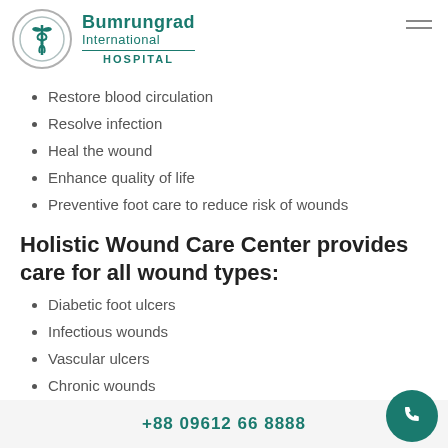[Figure (logo): Bumrungrad International Hospital logo with caduceus symbol in a circle]
Restore blood circulation
Resolve infection
Heal the wound
Enhance quality of life
Preventive foot care to reduce risk of wounds
Holistic Wound Care Center provides care for all wound types:
Diabetic foot ulcers
Infectious wounds
Vascular ulcers
Chronic wounds
Gangrene
+88 09612 66 8888